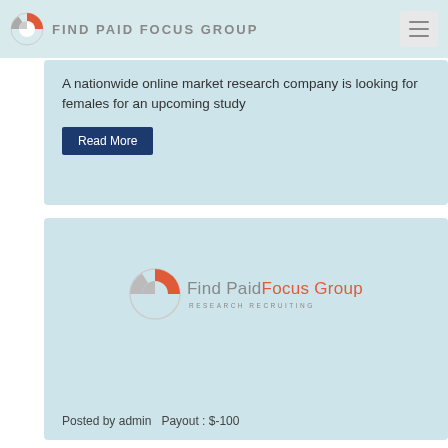FIND PAID FOCUS GROUP
A nationwide online market research company is looking for females for an upcoming study
Read More
[Figure (logo): Find Paid Focus Group logo with circular icon and text 'Find PaidFocus Group RESEARCH RECRUITING']
Posted by admin   Payout : $-100